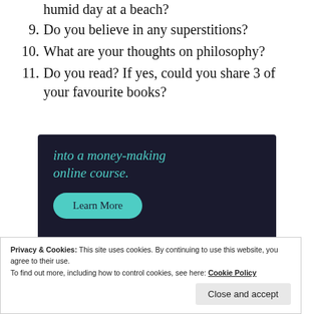humid day at a beach?
9. Do you believe in any superstitions?
10. What are your thoughts on philosophy?
11. Do you read? If yes, could you share 3 of your favourite books?
[Figure (screenshot): Dark advertisement banner with teal italic text reading 'into a money-making online course.' and a teal 'Learn More' button, with a small logo at the bottom right.]
Privacy & Cookies: This site uses cookies. By continuing to use this website, you agree to their use.
To find out more, including how to control cookies, see here: Cookie Policy